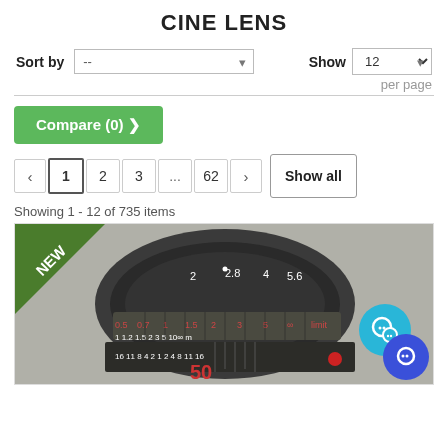CINE LENS
Sort by  --   Show  12  per page
Compare (0) ❯
❮  1  2  3  ...  62  ❯  Show all
Showing 1 - 12 of 735 items
[Figure (photo): Close-up photo of a Leica 50mm cine lens with focus and aperture markings visible, showing f-stop values 2, 2.8, 4, 5.6 and focus distances. A NEW badge is in the top left corner. Chat support icons are overlaid in the bottom right.]